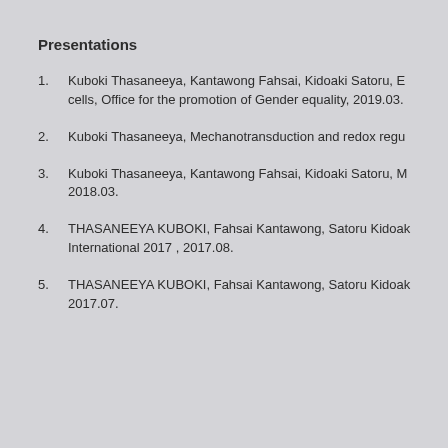Presentations
Kuboki Thasaneeya, Kantawong Fahsai, Kidoaki Satoru, E... cells, Office for the promotion of Gender equality, 2019.03.
Kuboki Thasaneeya, Mechanotransduction and redox regu...
Kuboki Thasaneeya, Kantawong Fahsai, Kidoaki Satoru, M... 2018.03.
THASANEEYA KUBOKI, Fahsai Kantawong, Satoru Kidoak... International 2017 , 2017.08.
THASANEEYA KUBOKI, Fahsai Kantawong, Satoru Kidoak... 2017.07.